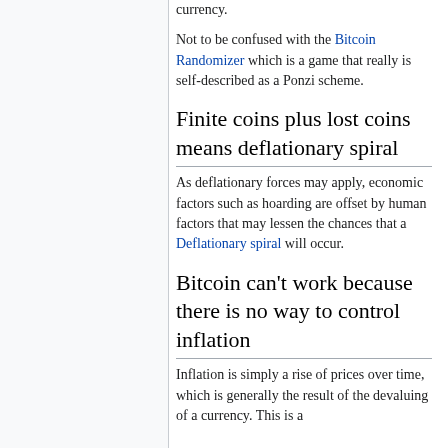currency.
Not to be confused with the Bitcoin Randomizer which is a game that really is self-described as a Ponzi scheme.
Finite coins plus lost coins means deflationary spiral
As deflationary forces may apply, economic factors such as hoarding are offset by human factors that may lessen the chances that a Deflationary spiral will occur.
Bitcoin can't work because there is no way to control inflation
Inflation is simply a rise of prices over time, which is generally the result of the devaluing of a currency. This is a